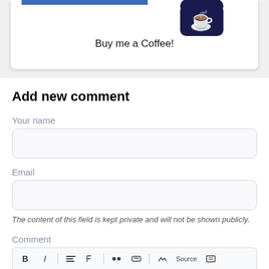[Figure (screenshot): Partial view of a 'Buy me a Coffee!' widget card with blue bar and dark coffee cup icon at top]
Buy me a Coffee!
Add new comment
Your name
Email
The content of this field is kept private and will not be shown publicly.
Comment